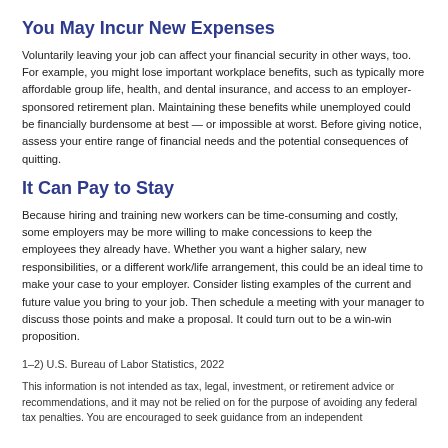You May Incur New Expenses
Voluntarily leaving your job can affect your financial security in other ways, too. For example, you might lose important workplace benefits, such as typically more affordable group life, health, and dental insurance, and access to an employer-sponsored retirement plan. Maintaining these benefits while unemployed could be financially burdensome at best — or impossible at worst. Before giving notice, assess your entire range of financial needs and the potential consequences of quitting.
It Can Pay to Stay
Because hiring and training new workers can be time-consuming and costly, some employers may be more willing to make concessions to keep the employees they already have. Whether you want a higher salary, new responsibilities, or a different work/life arrangement, this could be an ideal time to make your case to your employer. Consider listing examples of the current and future value you bring to your job. Then schedule a meeting with your manager to discuss those points and make a proposal. It could turn out to be a win-win proposition.
1–2) U.S. Bureau of Labor Statistics, 2022
This information is not intended as tax, legal, investment, or retirement advice or recommendations, and it may not be relied on for the purpose of avoiding any federal tax penalties. You are encouraged to seek guidance from an independent